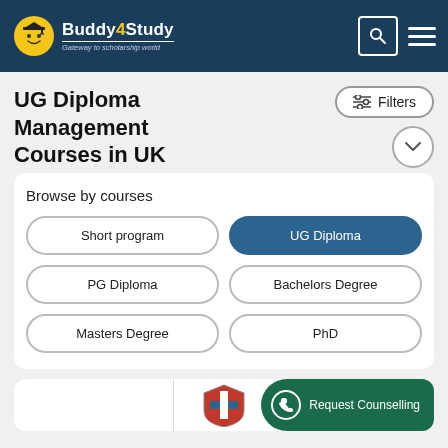[Figure (logo): Buddy4Study logo with star mascot wearing graduation cap, text 'Buddy4Study' and subtitle 'Gateway to scholarship world' on dark blue navigation bar]
UG Diploma Management Courses in UK
Filters
Browse by courses
Short program
UG Diploma
PG Diploma
Bachelors Degree
Masters Degree
PhD
Request Counselling